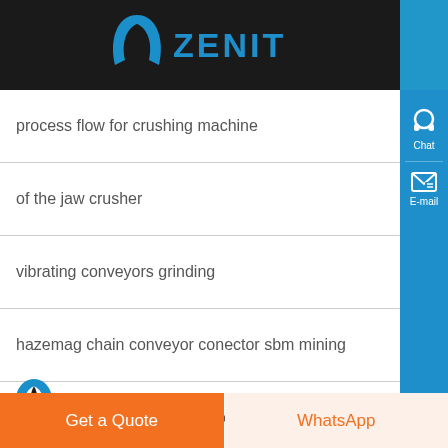[Figure (logo): Zenit company logo with blue arch icon and ZENIT text in blue on dark background]
process flow for crushing machine
of the jaw crusher
vibrating conveyors grinding
hazemag chain conveyor conector sbm mining
chinese companies looking for partners in africa
[Figure (logo): Zenit logo on dark footer background]
Get a Quote
WhatsApp